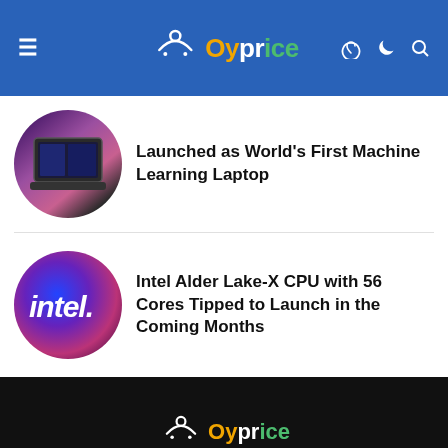Oyprice
Launched as World's First Machine Learning Laptop
[Figure (photo): Circular thumbnail of a laptop on a purple background]
Intel Alder Lake-X CPU with 56 Cores Tipped to Launch in the Coming Months
[Figure (logo): Intel logo on blue-purple gradient circular background]
Oyprice — Designed & Developed by oyprice.com — Phone Finder | Contact us | About us | Meet our Team